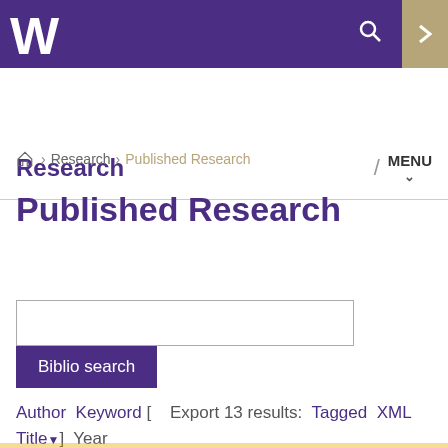University of Washington - Research navigation header with logo, search and menu
Research
Research › Published Research
Published Research
Biblio search
Author Keyword [ Export 13 results: Tagged XML Title▼] Year